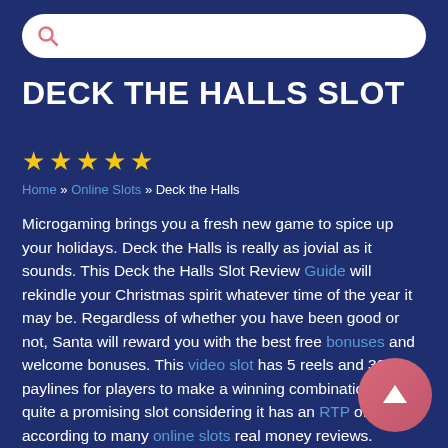[Figure (screenshot): Search bar with magnifying glass icon on dark blue background]
DECK THE HALLS SLOT
[Figure (other): Five gold star rating]
Home » Online Slots »  Deck the Halls
Microgaming brings you a fresh new game to spice up your holidays. Deck the Halls is really as jovial as it sounds. This Deck the Halls Slot Review Guide will rekindle your Christmas spirit whatever time of the year it may be. Regardless of whether you have been good or not, Santa will reward you with the best free bonuses and welcome bonuses. This video slot has 5 reels and 30 paylines for players to make a winning combination. It is quite a promising slot considering it has an RTP of 95.38% according to many online slots real money reviews.